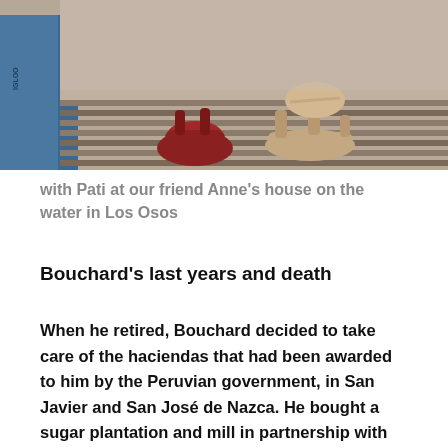[Figure (photo): Close-up photo of feet/shoes on a wooden deck, with a blue cooler visible on the left. Two people's footwear visible: red sandals on the left and beige/tan strappy sandals on the right.]
with Pati at our friend Anne's house on the water in Los Osos
Bouchard's last years and death
When he retired, Bouchard decided to take care of the haciendas that had been awarded to him by the Peruvian government, in San Javier and San José de Nazca. He bought a sugar plantation and mill in partnership with his old comrade Echeverria. Bouchard had not been in contact with his family for some time. He had lived with his wife for only ten months after the expedition with Almirante Brown, and did not get to know his youngest daughter who was